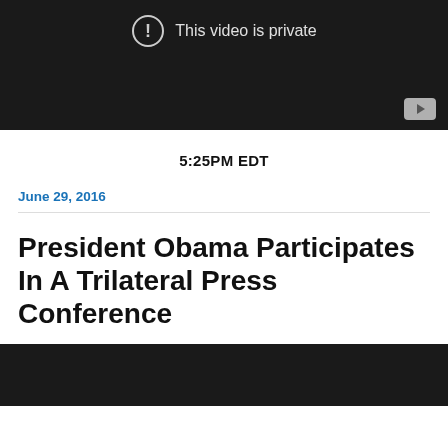[Figure (screenshot): Video player showing 'This video is private' message with exclamation icon on dark background, YouTube button in bottom-right corner]
5:25PM EDT
June 29, 2016
President Obama Participates In A Trilateral Press Conference
[Figure (screenshot): Bottom portion of a dark video player]